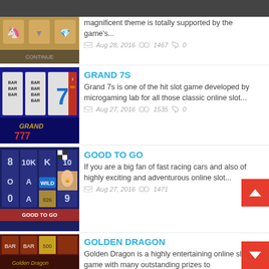[Figure (screenshot): Dark header bar at top of webpage]
[Figure (screenshot): Slot game thumbnail - first item (partially visible at top)]
magnificent theme is totally supported by the game's...
Aug 28, 2016  ◉◉ 1467  ◯ 0
[Figure (screenshot): Grand 777 slot game thumbnail]
GRAND 7S
Grand 7s is one of the hit slot game developed by microgaming lab for all those classic online slot...
Aug 27, 2016  ◉◉ 1535  ◯ 0
[Figure (screenshot): Good To Go slot game thumbnail with racing cars theme]
GOOD TO GO
If you are a big fan of fast racing cars and also of highly exciting and adventurous online slot...
Aug 27, 2016  ◉◉ 1471
[Figure (screenshot): Golden Dragon slot game thumbnail]
GOLDEN DRAGON
Golden Dragon is a highly entertaining online slot game with many outstanding prizes to